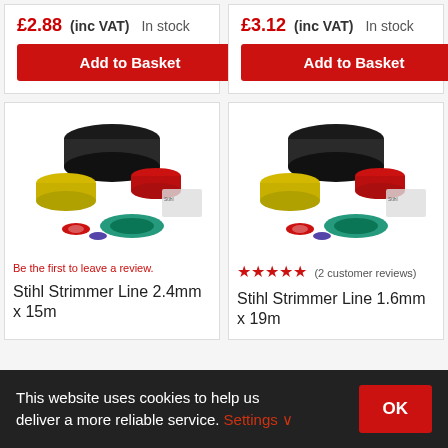£2.88 (inc VAT)  In stock
Add to Basket
£3.12 (inc VAT)  In stock
Add to Basket
[Figure (photo): Stihl strimmer line spools in various sizes and colors (black, yellow, red, green)]
Be the first to leave a review.
Stihl Strimmer Line 2.4mm x 15m
[Figure (photo): Stihl strimmer line spools in various sizes and colors (black, yellow, red, green)]
★★★★★ (2 customer reviews)
Stihl Strimmer Line 1.6mm x 19m
This website uses cookies to help us deliver a more reliable service. Settings ∨
OK